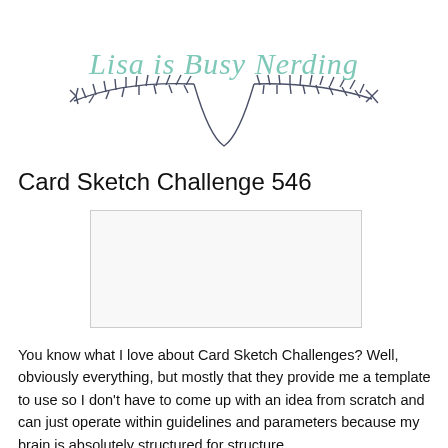[Figure (logo): Blog logo for 'Lisa is Busy Nerding' with decorative branch/laurel wreath border in dark navy and handwritten mint green script text]
Card Sketch Challenge 546
[Figure (other): Light gray rectangular placeholder image with thin border, representing a card sketch or photo]
You know what I love about Card Sketch Challenges? Well, obviously everything, but mostly that they provide me a template to use so I don't have to come up with an idea from scratch and can just operate within guidelines and parameters because my brain is absolutely structured for structure.